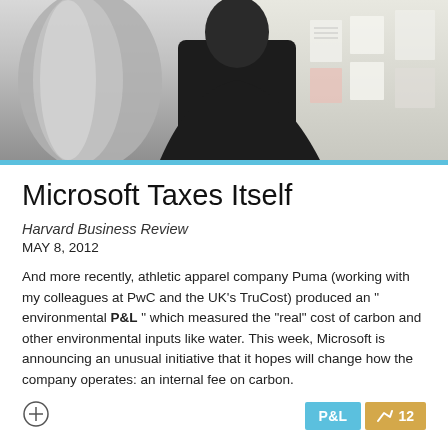[Figure (photo): A person in a dark top viewed from behind, standing in front of a wall with papers/documents pinned to it, in an office-like setting. The left side shows a blurred metallic cylindrical object.]
Microsoft Taxes Itself
Harvard Business Review
MAY 8, 2012
And more recently, athletic apparel company Puma (working with my colleagues at PwC and the UK's TruCost) produced an " environmental P&L " which measured the "real" cost of carbon and other environmental inputs like water. This week, Microsoft is announcing an unusual initiative that it hopes will change how the company operates: an internal fee on carbon.